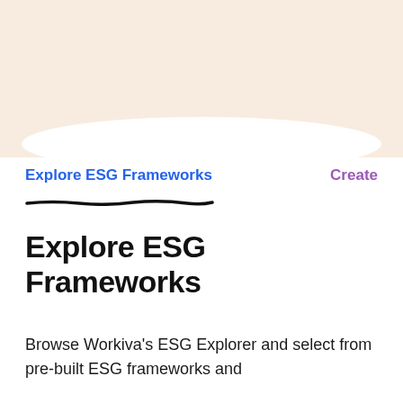[Figure (illustration): Rounded rectangle decorative blob shape in light peach/cream color at the top of the page, partially cropped]
Explore ESG Frameworks
Create
Explore ESG Frameworks
Browse Workiva's ESG Explorer and select from pre-built ESG frameworks and